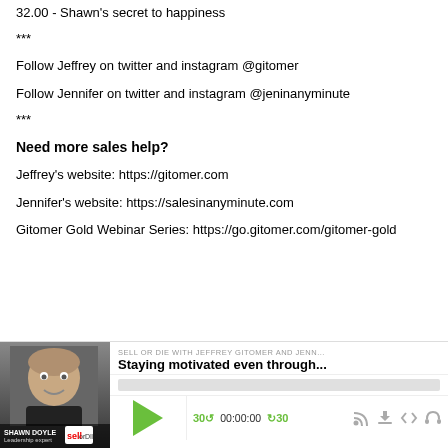32.00 - Shawn's secret to happiness
***
Follow Jeffrey on twitter and instagram @gitomer
Follow Jennifer on twitter and instagram @jeninanyminute
***
Need more sales help?
Jeffrey's website: https://gitomer.com
Jennifer's website: https://salesinanyminute.com
Gitomer Gold Webinar Series: https://go.gitomer.com/gitomer-gold
[Figure (screenshot): Podcast player widget showing 'SELL OR DIE WITH JEFFREY GITOMER AND JENN...' with episode 'Staying motivated even through...' featuring a photo of Shawn Doyle. Controls include play button, 30-second skip back, time display 00:00:00, 30-second skip forward, and icons for RSS, download, embed, and headphones. Progress bar shown below episode title.]